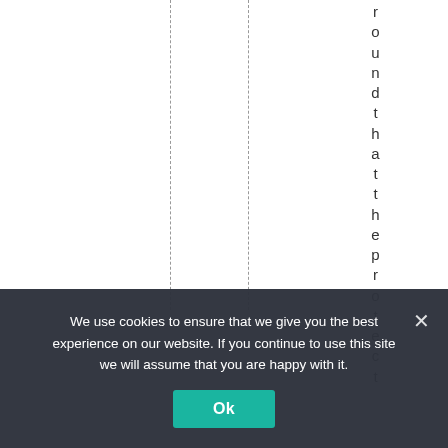[Figure (other): White background with two dashed vertical lines and vertically-stacked letters spelling 'foundthattheprotect' running top to bottom on the right side of the page.]
We use cookies to ensure that we give you the best experience on our website. If you continue to use this site we will assume that you are happy with it.